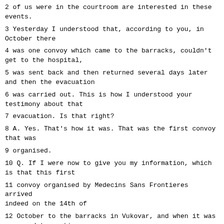2 of us were in the courtroom are interested in these events.
3 Yesterday I understood that, according to you, in October there
4 was one convoy which came to the barracks, couldn't get to the hospital,
5 was sent back and then returned several days later and then the evacuation
6 was carried out. This is how I understood your testimony about that
7 evacuation. Is that right?
8 A. Yes. That's how it was. That was the first convoy that was
9 organised.
10 Q. If I were now to give you my information, which is that this first
11 convoy organised by Medecins Sans Frontieres arrived indeed on the 14th of
12 October to the barracks in Vukovar, and when it was supposed to continue
13 on to the hospital, the defenders or, rather,